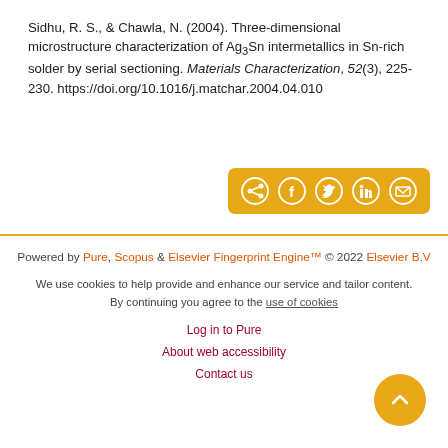Sidhu, R. S., & Chawla, N. (2004). Three-dimensional microstructure characterization of Ag3Sn intermetallics in Sn-rich solder by serial sectioning. Materials Characterization, 52(3), 225-230. https://doi.org/10.1016/j.matchar.2004.04.010
[Figure (other): Share bar with orange/gold background containing share icons: generic share, Facebook, Twitter, LinkedIn, and email]
Powered by Pure, Scopus & Elsevier Fingerprint Engine™ © 2022 Elsevier B.V
We use cookies to help provide and enhance our service and tailor content. By continuing you agree to the use of cookies
Log in to Pure
About web accessibility
Contact us